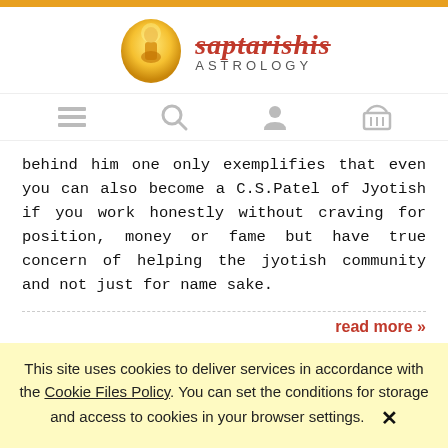[Figure (logo): Saptarishis Astrology logo with deity icon and stylized red italic text 'saptarishis ASTROLOGY']
[Figure (infographic): Navigation bar with four icons: hamburger menu, search magnifying glass, user profile, and shopping basket]
behind him one only exemplifies that even you can also become a C.S.Patel of Jyotish if you work honestly without craving for position, money or fame but have true concern of helping the jyotish community and not just for name sake.
read more »
SAPTARISHIS ASTROLOGY UPDATE
This site uses cookies to deliver services in accordance with the Cookie Files Policy. You can set the conditions for storage and access to cookies in your browser settings.